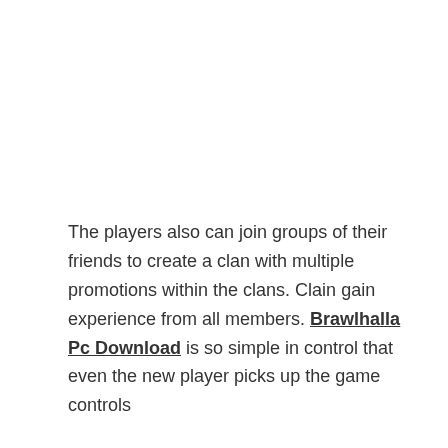The players also can join groups of their friends to create a clan with multiple promotions within the clans. Clain gain experience from all members. Brawlhalla Pc Download is so simple in control that even the new player picks up the game controls